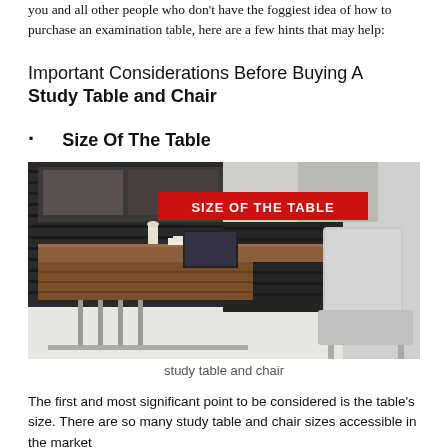you and all other people who don't have the foggiest idea of how to purchase an examination table, here are a few hints that may help:
Important Considerations Before Buying A Study Table and Chair
Size Of The Table
[Figure (photo): A modern study desk with wood surface and metal legs, with items on top including a lamp/candle and papers, and a white padded chair, in a room with dark slatted wall panels. Red banner overlay reads 'SIZE OF THE TABLE'.]
study table and chair
The first and most significant point to be considered is the table's size. There are so many study table and chair sizes accessible in the market